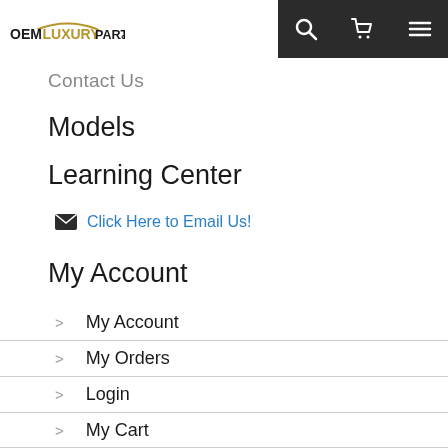OEM LUXURY PARTS.com
Contact Us
Models
Learning Center
Click Here to Email Us!
My Account
My Account
My Orders
Login
My Cart